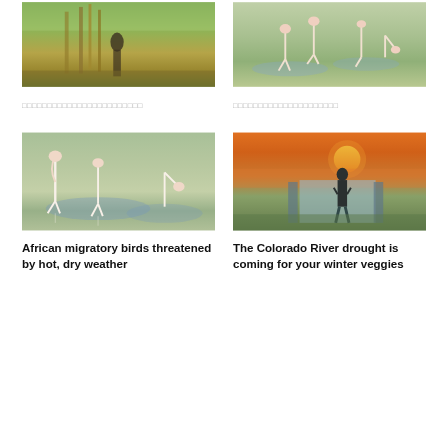[Figure (photo): Person in a dry farm field with tall dry plants and greenery in background]
[Figure (photo): Flamingos wading in shallow water with reflections]
□□□□□□□□□□□□□□□□□□□□□□□□
□□□□□□□□□□□□□□□□□□□□□
[Figure (photo): Flamingos wading in shallow wetland water]
[Figure (photo): Man standing by irrigation canal at sunset with orange sky]
African migratory birds threatened by hot, dry weather
The Colorado River drought is coming for your winter veggies